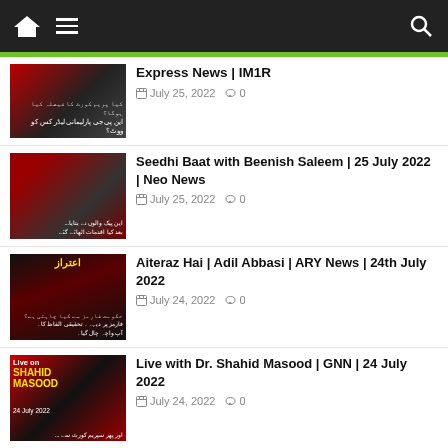Navigation bar with home, menu, and search icons
Express News | IM1R — July 25, 2022 — 0 comments
Seedhi Baat with Beenish Saleem | 25 July 2022 | Neo News — July 25, 2022 — 0 comments
Aiteraz Hai | Adil Abbasi | ARY News | 24th July 2022 — July 24, 2022 — 0 comments
Live with Dr. Shahid Masood | GNN | 24 July 2022 — July 24, 2022 — 0 comments
Face to Face With Ayesha Bakhsh | GNN | 24 July 2022